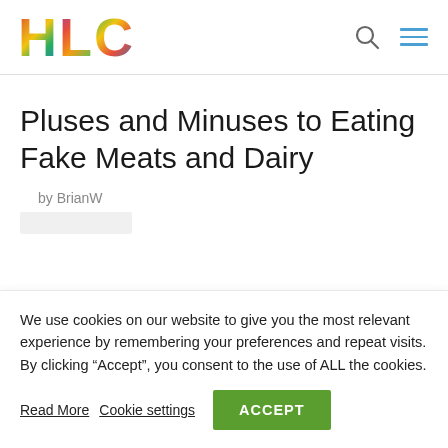[Figure (logo): HLC logo with colorful vegetable/fruit-textured letters]
Pluses and Minuses to Eating Fake Meats and Dairy
by BrianW
We use cookies on our website to give you the most relevant experience by remembering your preferences and repeat visits. By clicking “Accept”, you consent to the use of ALL the cookies.
Read More   Cookie settings   ACCEPT